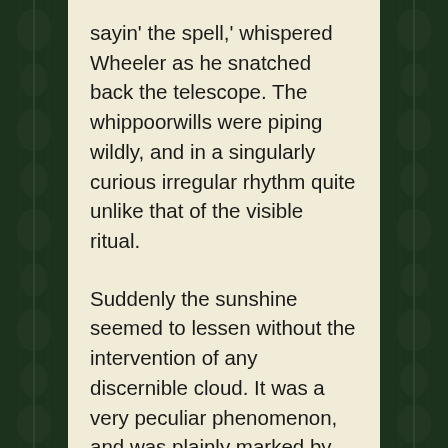sayin' the spell,' whispered Wheeler as he snatched back the telescope. The whippoorwills were piping wildly, and in a singularly curious irregular rhythm quite unlike that of the visible ritual.
Suddenly the sunshine seemed to lessen without the intervention of any discernible cloud. It was a very peculiar phenomenon, and was plainly marked by all. A rumbling sound seemed brewing beneath the hills, mixed strangely with a concordant rumbling which clearly came from the sky. Lightning flashed aloft, and the wondering crowd looked in vain for the portents of storm. The chanting of the men from Arkham now became unmistakable, and Wheeler saw through the glass that they were all raising their arms in the rhythmic incantation. From some farmhouse far away...